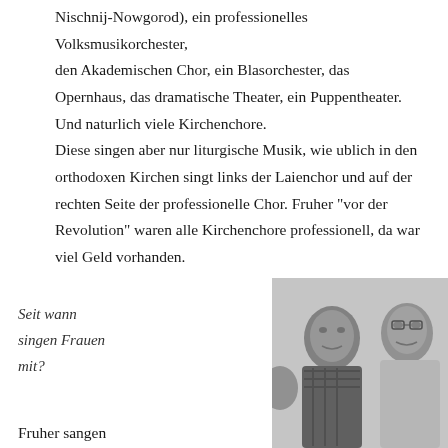Nischnij-Nowgorod), ein professionelles Volksmusikorchester, den Akademischen Chor, ein Blasorchester, das Opernhaus, das dramatische Theater, ein Puppentheater. Und naturlich viele Kirchenchore. Diese singen aber nur liturgische Musik, wie ublich in den orthodoxen Kirchen singt links der Laienchor und auf der rechten Seite der professionelle Chor. Fruher "vor der Revolution" waren alle Kirchenchore professionell, da war viel Geld vorhanden.
Seit wann singen Frauen mit?
[Figure (photo): Black and white photograph of two men in conversation, one wearing a plaid shirt and the other wearing a light-colored top with glasses.]
Fruher sangen